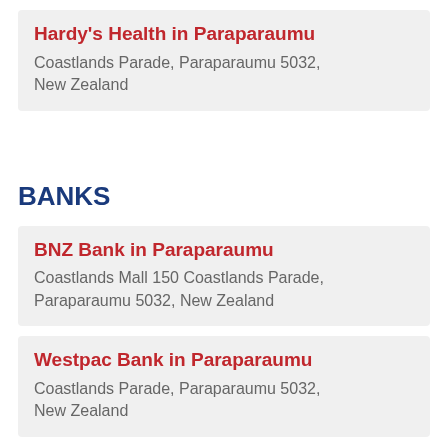Hardy's Health in Paraparaumu
Coastlands Parade, Paraparaumu 5032, New Zealand
BANKS
BNZ Bank in Paraparaumu
Coastlands Mall 150 Coastlands Parade, Paraparaumu 5032, New Zealand
Westpac Bank in Paraparaumu
Coastlands Parade, Paraparaumu 5032, New Zealand